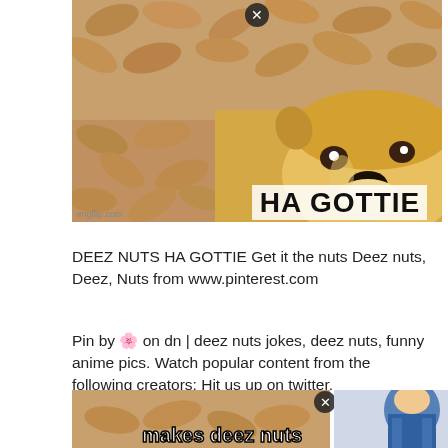[Figure (photo): Meme image: left half shows peanuts in shells, right half shows a Shiba Inu dog (Doge meme) with text 'HA GOTTIE' at the bottom right. A close (X) button appears at the top center. 'imgflip.com' watermark at bottom left.]
DEEZ NUTS HA GOTTIE Get it the nuts Deez nuts, Deez, Nuts from www.pinterest.com
Pin by 🌸 on dn | deez nuts jokes, deez nuts, funny anime pics. Watch popular content from the following creators: Hit us up on twitter.
[Figure (photo): Partial meme image at bottom left with text 'makes deez nuts' partially visible, with a close (X) button. Bottom right shows a partial anime character illustration.]